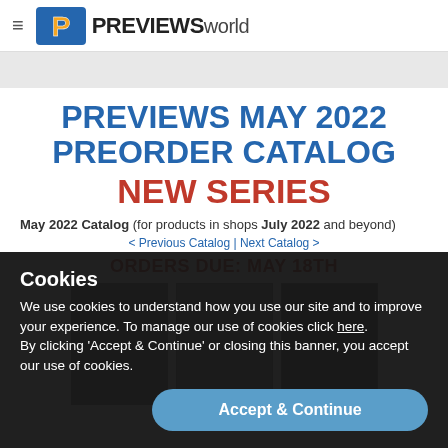PREVIEWS world
PREVIEWS MAY 2022 PREORDER CATALOG NEW SERIES
May 2022 Catalog (for products in shops July 2022 and beyond)
< Previous Catalog | Next Catalog >
ORDERS DUE: MAY 18TH
Cookies
We use cookies to understand how you use our site and to improve your experience. To manage our use of cookies click here.
By clicking 'Accept & Continue' or closing this banner, you accept our use of cookies.